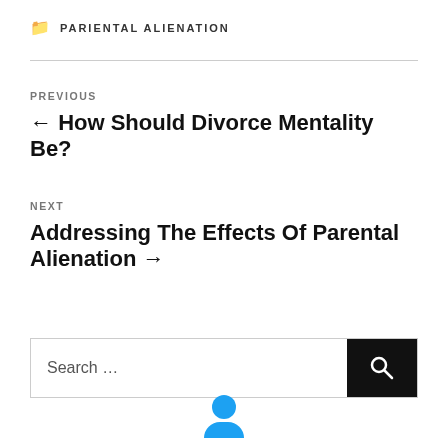PARIENTAL ALIENATION
PREVIOUS
← How Should Divorce Mentality Be?
NEXT
Addressing The Effects Of Parental Alienation →
Search …